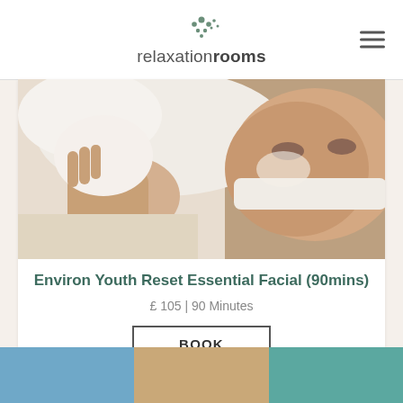relaxationrooms
[Figure (photo): Woman lying down receiving a spa facial treatment, wearing a white towel headband, with white cream/mud on skin, looking at camera]
Environ Youth Reset Essential Facial (90mins)
£ 105 | 90 Minutes
BOOK